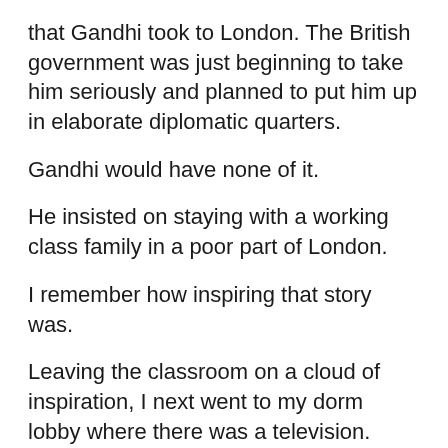that Gandhi took to London. The British government was just beginning to take him seriously and planned to put him up in elaborate diplomatic quarters.
Gandhi would have none of it.
He insisted on staying with a working class family in a poor part of London.
I remember how inspiring that story was.
Leaving the classroom on a cloud of inspiration, I next went to my dorm lobby where there was a television.
The cloud of inspiration vanished quickly.
News all over the TV was about Arafat coming to New York City for negotiating before the United